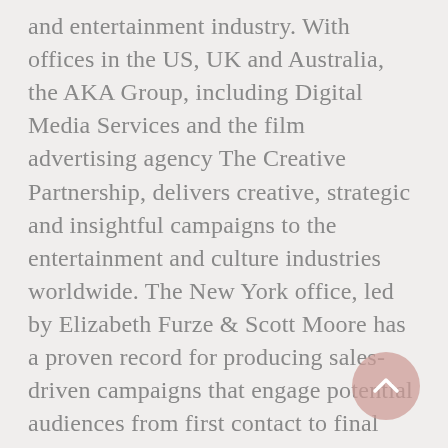and entertainment industry. With offices in the US, UK and Australia, the AKA Group, including Digital Media Services and the film advertising agency The Creative Partnership, delivers creative, strategic and insightful campaigns to the entertainment and culture industries worldwide. The New York office, led by Elizabeth Furze & Scott Moore has a proven record for producing sales-driven campaigns that engage potential audiences from first contact to final sale. Current and recent NYC clients include: Entertainment: Anastasia, The Band's Visit, Big Apple Circus, A Bronx Tale, Charlie and the Chocolate Factory, Come from Away, Harry Potter and the Cursed Child, John Leguizamo's Latin History for Morons, M. Butterfly, Miss Saigon, Once on this Island, Summer: The Donna Summer Musical, The Secret Garden, Manhattan Theatre Club. Destinations: Empire Outlets, New York Botanical
[Figure (other): A circular scroll-to-top button with a pink/rose semi-transparent background and an upward-pointing chevron arrow icon.]